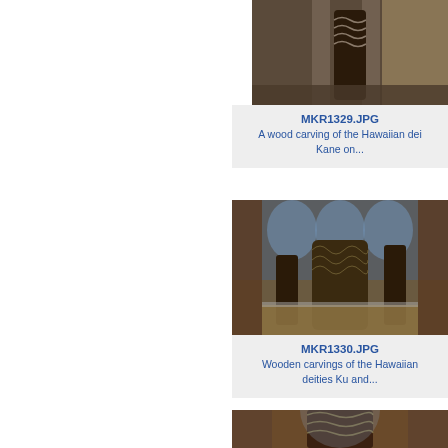[Figure (photo): Photo of a wood carving of the Hawaiian deity Kane in a museum, shown partially at top]
MKR1329.JPG
A wood carving of the Hawaiian deit Kane on...
[Figure (photo): Photo of wooden carvings of the Hawaiian deities Ku and others in a museum hall with arched windows and shelving]
MKR1330.JPG
Wooden carvings of the Hawaiian deities Ku and...
[Figure (photo): Photo partially visible at bottom showing a carved Hawaiian deity figure in a museum with arched architecture]